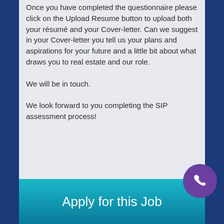Once you have completed the questionnaire please click on the Upload Resume button to upload both your résumé and your Cover-letter. Can we suggest in your Cover-letter you tell us your plans and aspirations for your future and a little bit about what draws you to real estate and our role.
We will be in touch.
We look forward to you completing the SIP assessment process!
[Figure (other): Teal/blue 'Apply for this Job' button at bottom of page with a purple phone icon circle in the lower-right corner]